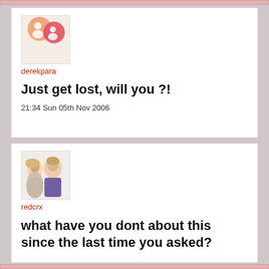[Figure (illustration): Profile icon with two abstract user silhouette bubbles in orange and red/pink tones]
derekpara
Just get lost, will you ?!
21:34 Sun 05th Nov 2006
[Figure (photo): Photo of two children, a girl whispering to a boy]
redcrx
what have you dont about this since the last time you asked?